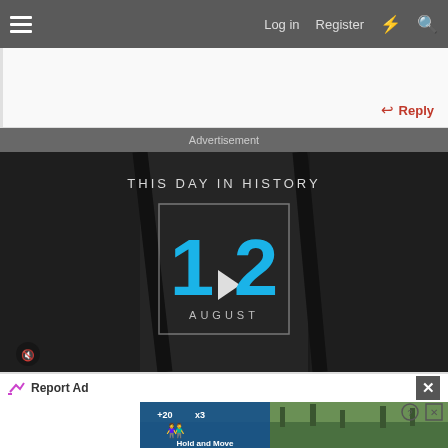☰   Log in   Register   ⚡   🔍
Reply
Advertisement
[Figure (screenshot): A 'This Day in History' video thumbnail/advertisement showing the date '12 AUGUST' in blue on a dark background with historical figures' silhouettes, and a play button overlay.]
Report Ad
[Figure (screenshot): A game advertisement for 'Hold and Move' showing a mobile game UI with score counters (+20, x3), stick figure icons, and a forest landscape background.]